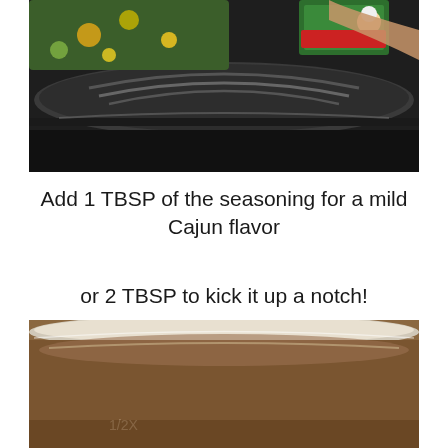[Figure (photo): Close-up photo of a black slow cooker lid with colorful seasoning packet being held above it, green and colorful vegetables visible inside the cooker]
Add 1 TBSP of the seasoning for a mild Cajun flavor
or 2 TBSP to kick it up a notch!
[Figure (photo): Close-up photo of a stainless steel slow cooker interior with brownish liquid/broth, markings visible on the side]